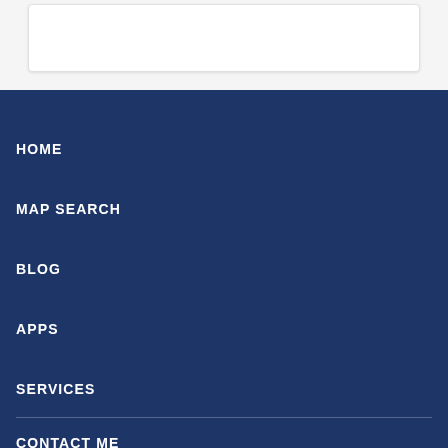HOME
MAP SEARCH
BLOG
APPS
SERVICES
CONTACT ME